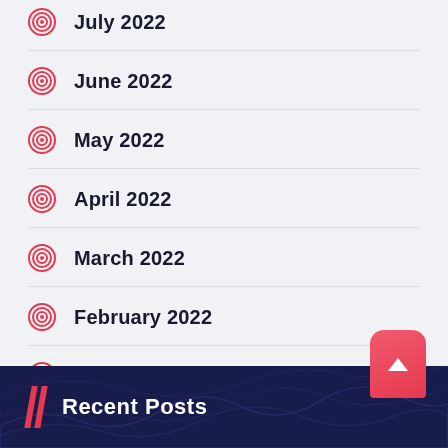July 2022
June 2022
May 2022
April 2022
March 2022
February 2022
January 2022
December 2021
Recent Posts